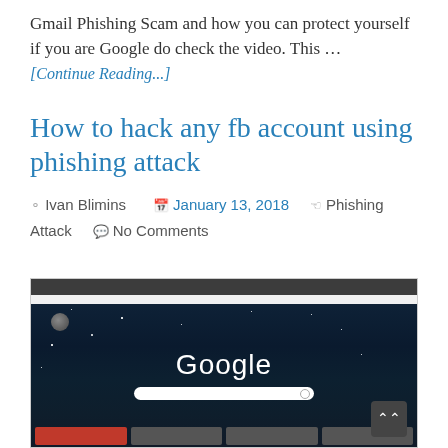Gmail Phishing Scam and how you can protect yourself if you are Google do check the video. This …
[Continue Reading...]
How to hack any fb account using phishing attack
Ivan Blimins   January 13, 2018   Phishing Attack   No Comments
[Figure (screenshot): Screenshot of a browser showing the Google homepage with a dark starry background, Google logo in white, a search bar, and a bottom row of thumbnail tiles.]